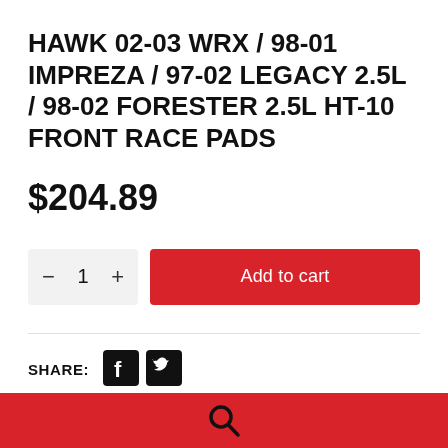HAWK 02-03 WRX / 98-01 IMPREZA / 97-02 LEGACY 2.5L / 98-02 FORESTER 2.5L HT-10 FRONT RACE PADS
$204.89
Add to cart
SHARE:
[Figure (logo): Facebook and Twitter social share icons]
[Figure (other): Search icon on red footer bar]